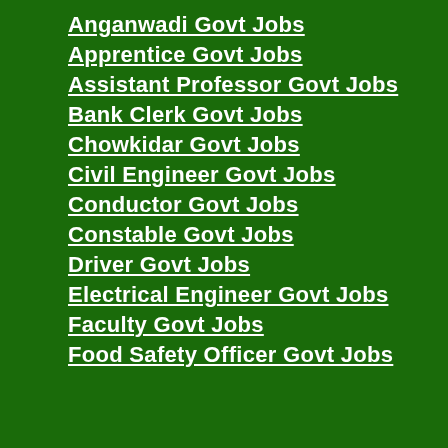Anganwadi Govt Jobs
Apprentice Govt Jobs
Assistant Professor Govt Jobs
Bank Clerk Govt Jobs
Chowkidar Govt Jobs
Civil Engineer Govt Jobs
Conductor Govt Jobs
Constable Govt Jobs
Driver Govt Jobs
Electrical Engineer Govt Jobs
Faculty Govt Jobs
Food Safety Officer Govt Jobs